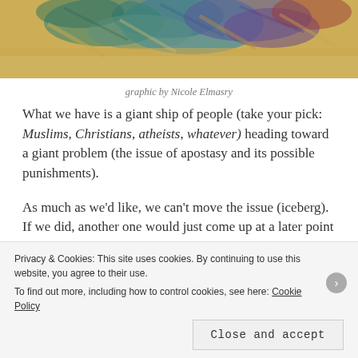[Figure (illustration): Colorful abstract artwork with brushstroke textures in teal, blue, purple, red, and golden/yellow tones — top portion of a painting, cropped.]
graphic by Nicole Elmasry
What we have is a giant ship of people (take your pick: Muslims, Christians, atheists, whatever) heading toward a giant problem (the issue of apostasy and its possible punishments).
As much as we'd like, we can't move the issue (iceberg). If we did, another one would just come up at a later point in
Privacy & Cookies: This site uses cookies. By continuing to use this website, you agree to their use.
To find out more, including how to control cookies, see here: Cookie Policy
Close and accept